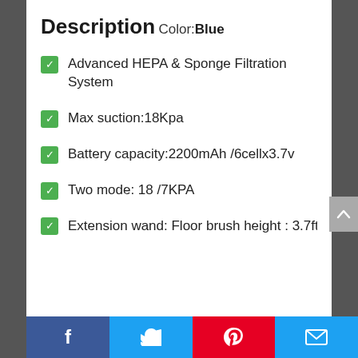Description
Color: Blue
Advanced HEPA & Sponge Filtration System
Max suction:18Kpa
Battery capacity:2200mAh /6cellx3.7v
Two mode: 18 /7KPA
Extension wand: Floor brush height : 3.7ft
Facebook | Twitter | Pinterest | Email